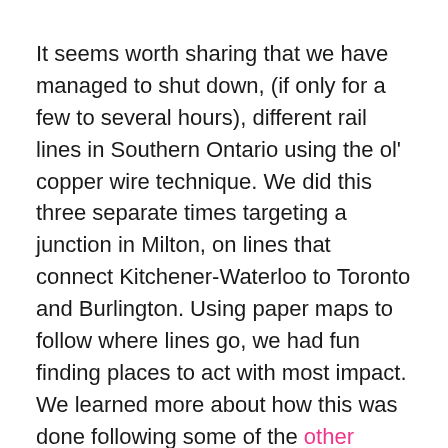It seems worth sharing that we have managed to shut down, (if only for a few to several hours), different rail lines in Southern Ontario using the ol' copper wire technique. We did this three separate times targeting a junction in Milton, on lines that connect Kitchener-Waterloo to Toronto and Burlington. Using paper maps to follow where lines go, we had fun finding places to act with most impact. We learned more about how this was done following some of the other informative and inspiring posts here on North Shore.
These have been quick, successful, and gleeful ways to contribute to the efforts behind Shut Down Canada. Clandestine sabotages are meaningful